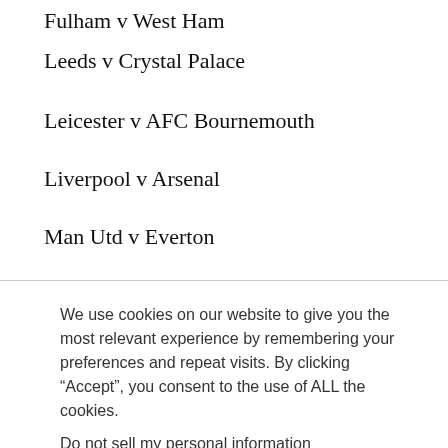Fulham v West Ham
Leeds v Crystal Palace
Leicester v AFC Bournemouth
Liverpool v Arsenal
Man Utd v Everton
We use cookies on our website to give you the most relevant experience by remembering your preferences and repeat visits. By clicking “Accept”, you consent to the use of ALL the cookies.
Do not sell my personal information.
Everton v Fulham
Leeds v Liverpool
Man City v Leicester
Nottingham Forest v Man Utd
Southampton v Crystal Palace
Spurs v AFC Bournemouth